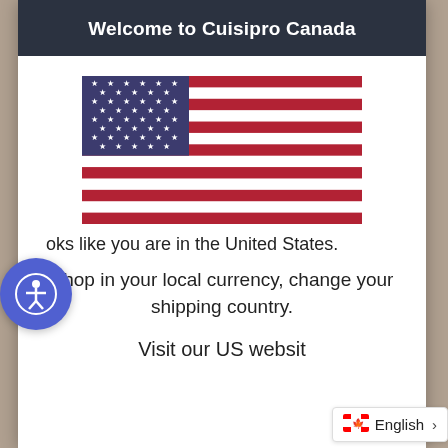Welcome to Cuisipro Canada
[Figure (illustration): US flag illustration]
It looks like you are in the United States.
Shop in your local currency, change your shipping country.
Visit our US website